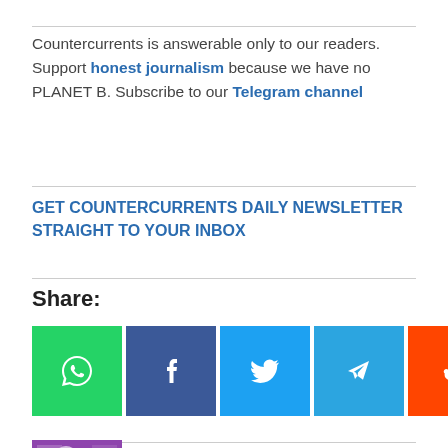Countercurrents is answerable only to our readers. Support honest journalism because we have no PLANET B. Subscribe to our Telegram channel
GET COUNTERCURRENTS DAILY NEWSLETTER STRAIGHT TO YOUR INBOX
Share:
[Figure (infographic): Row of 6 social share buttons: WhatsApp (green), Facebook (dark blue), Twitter (light blue), Telegram (sky blue), Reddit (orange), Email (gray), each with white icon]
Author: Dr Gideon Polya